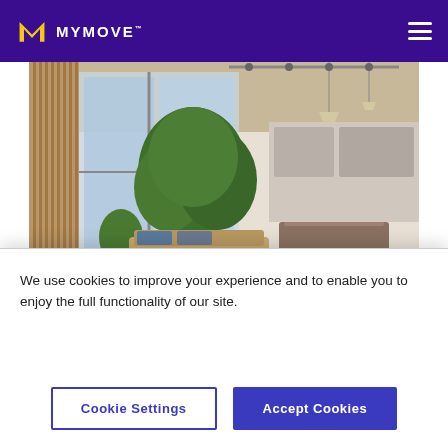MYMOVE
[Figure (photo): Modern open-plan apartment interior with large tree, modular seating, kitchen island, and industrial-style ceiling with track lighting]
alvarez / Getty Images
We use cookies to improve your experience and to enable you to enjoy the full functionality of our site.
Cookie Settings | Accept Cookies